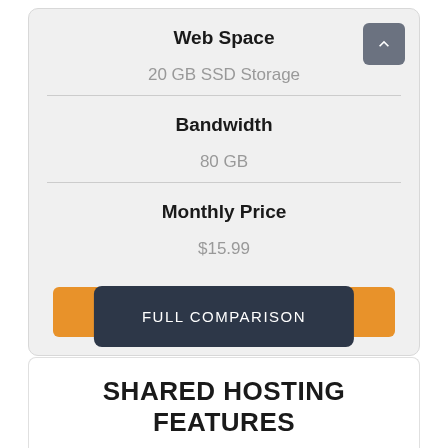Web Space
20 GB SSD Storage
Bandwidth
80 GB
Monthly Price
$15.99
ORDER NOW
FULL COMPARISON
SHARED HOSTING FEATURES